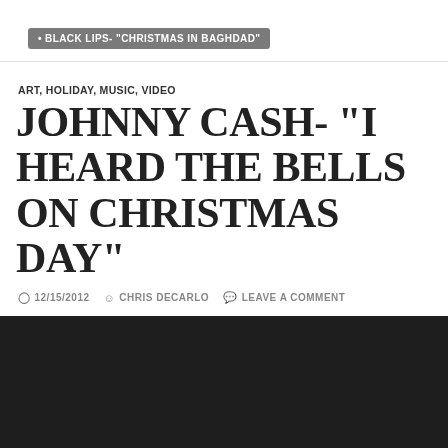• BLACK LIPS- "CHRISTMAS IN BAGHDAD"
ART, HOLIDAY, MUSIC, VIDEO
JOHNNY CASH- “I HEARD THE BELLS ON CHRISTMAS DAY”
12/15/2012  CHRIS DECARLO  LEAVE A COMMENT
[Figure (screenshot): Black video thumbnail/embed area]